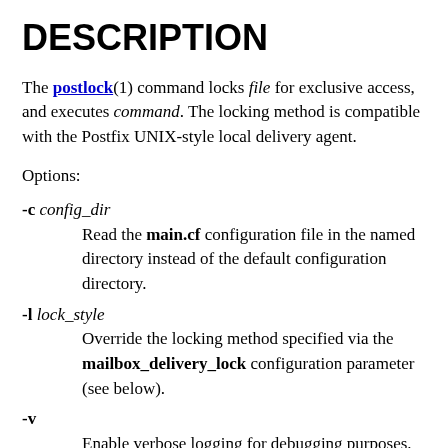DESCRIPTION
The postlock(1) command locks file for exclusive access, and executes command. The locking method is compatible with the Postfix UNIX-style local delivery agent.
Options:
-c config_dir
Read the main.cf configuration file in the named directory instead of the default configuration directory.
-l lock_style
Override the locking method specified via the mailbox_delivery_lock configuration parameter (see below).
-v
Enable verbose logging for debugging purposes. Multiple -v options make the